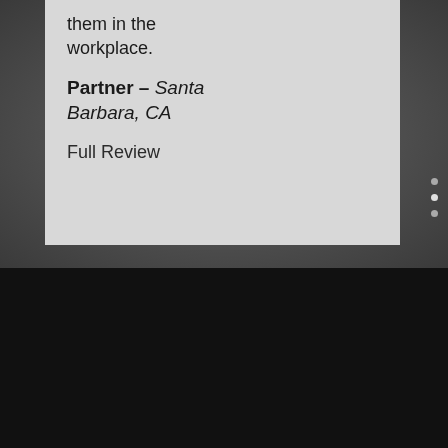them in the workplace.
Partner – Santa Barbara, CA
Full Review
Please note: This website is designed for general information only. The information contained in this site should not be construed as formal legal advice or the formation of the lawyer/client relationship.